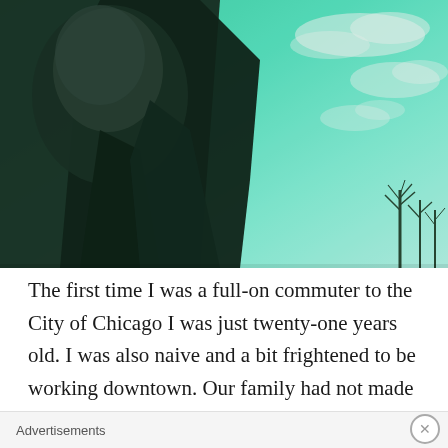[Figure (photo): A person (man) photographed from below, wearing a dark jacket, with a green-tinted sky and bare trees visible in the background. The image has a strong teal/green color cast.]
The first time I was a full-on commuter to the City of Chicago I was just twenty-one years old. I was also naive and a bit frightened to be working downtown. Our family had not made many journeys from the far suburbs to the City of Chicago during my teen years. Just some trips in
Advertisements